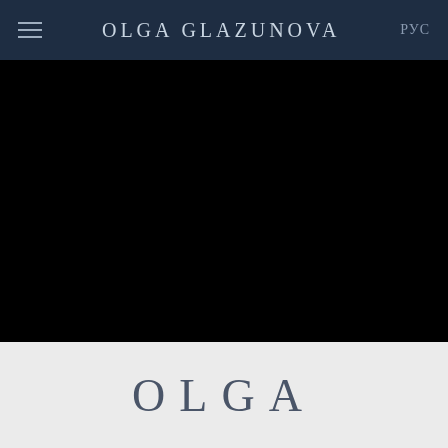OLGA GLAZUNOVA | РУС
[Figure (photo): Black hero image section, full-width dark background]
OLGA